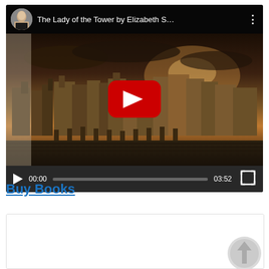[Figure (screenshot): YouTube video player showing 'The Lady of the Tower by Elizabeth S...' with a medieval cityscape thumbnail, red play button overlay, video controls bar showing 00:00 / 03:52 timestamps and progress bar]
Buy Books
[Figure (screenshot): A white widget/iframe box with a circular upload/arrow icon in the bottom-right corner]